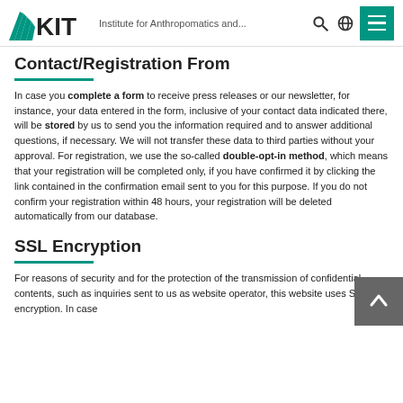KIT — Institute for Anthropomatics and...
Contact/Registration From
In case you complete a form to receive press releases or our newsletter, for instance, your data entered in the form, inclusive of your contact data indicated there, will be stored by us to send you the information required and to answer additional questions, if necessary. We will not transfer these data to third parties without your approval. For registration, we use the so-called double-opt-in method, which means that your registration will be completed only, if you have confirmed it by clicking the link contained in the confirmation email sent to you for this purpose. If you do not confirm your registration within 48 hours, your registration will be deleted automatically from our database.
SSL Encryption
For reasons of security and for the protection of the transmission of confidential contents, such as inquiries sent to us as website operator, this website uses SSL encryption. In case...